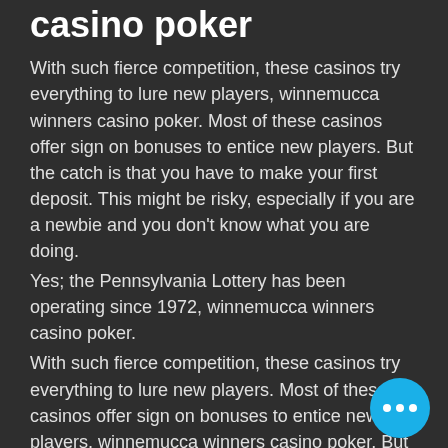casino poker
With such fierce competition, these casinos try everything to lure new players, winnemucca winners casino poker. Most of these casinos offer sign on bonuses to entice new players. But the catch is that you have to make your first deposit. This might be risky, especially if you are a newbie and you don't know what you are doing.
Yes; the Pennsylvania Lottery has been operating since 1972, winnemucca winners casino poker.
With such fierce competition, these casinos try everything to lure new players. Most of these casinos offer sign on bonuses to entice new players, winnemucca winners casino poker. But the catch is that you have to make your first deposit.
Bovegas no deposit